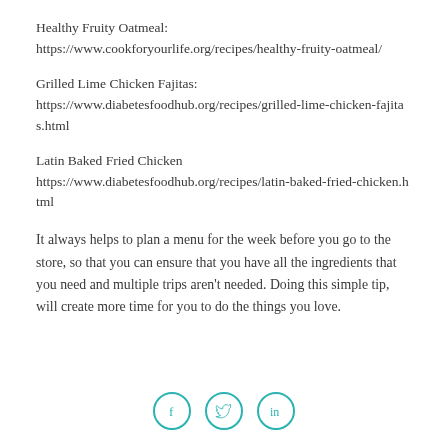Healthy Fruity Oatmeal:
https://www.cookforyourlife.org/recipes/healthy-fruity-oatmeal/
Grilled Lime Chicken Fajitas:
https://www.diabetesfoodhub.org/recipes/grilled-lime-chicken-fajitas.html
Latin Baked Fried Chicken
https://www.diabetesfoodhub.org/recipes/latin-baked-fried-chicken.html
It always helps to plan a menu for the week before you go to the store, so that you can ensure that you have all the ingredients that you need and multiple trips aren't needed. Doing this simple tip, will create more time for you to do the things you love.
[Figure (illustration): Three social media icon circles: Facebook (f), Twitter (bird), LinkedIn (in) in teal outline style]